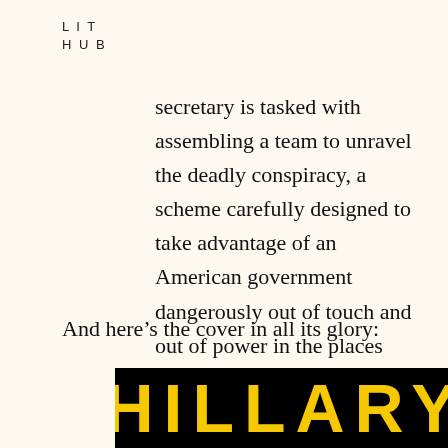LIT
HUB
secretary is tasked with assembling a team to unravel the deadly conspiracy, a scheme carefully designed to take advantage of an American government dangerously out of touch and out of power in the places where it counts the most.
And here’s the cover in all its glory:
[Figure (illustration): Book cover with black background showing the word HILLARY in large bold yellow letters]